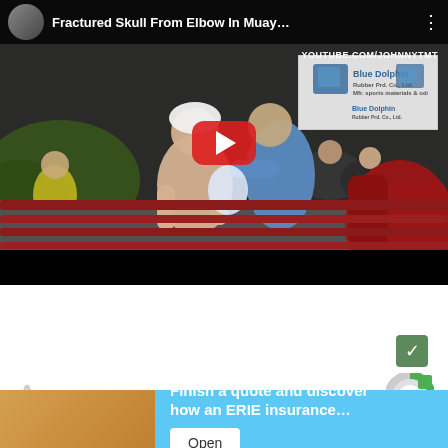[Figure (screenshot): YouTube video thumbnail/player showing a Muay Thai boxing match titled 'Fractured Skull From Elbow In Muay...' with a play button overlay. Two fighters in a boxing ring, one shirtless with a towel on head being tended to, large red boxing glove visible on right. Sponsor banner for 'Blue Dolphin' visible top right. YouTube watermark 'YOUTUBE.COM/JOHNNYTMT' shown.]
[Figure (screenshot): Partial screenshot of a mobile web page showing a green checkmark icon, partial text 'Aro' in gray, a circular icon top right, and an advertisement banner for ERIE insurance with text 'Finish a quote and discover how an ERIE insurance...' and an 'Open' button, overlaid on a light blue background.]